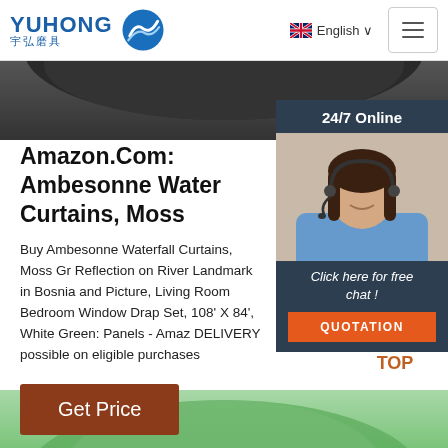YUHONG 宇弘磨具 | English
[Figure (photo): Partial dark circular object photo strip at top]
[Figure (photo): Customer service agent woman with headset, smiling, 24/7 Online chat widget]
Amazon.Com: Ambesonne Water Curtains, Moss
Buy Ambesonne Waterfall Curtains, Moss Gr Reflection on River Landmark in Bosnia and Picture, Living Room Bedroom Window Drap Set, 108' X 84', White Green: Panels - Amaz DELIVERY possible on eligible purchases
[Figure (other): Get Price button — brown/red button]
[Figure (other): TOP back-to-top button icon in orange/brown at bottom right]
[Figure (photo): Partial green circular object photo at bottom]